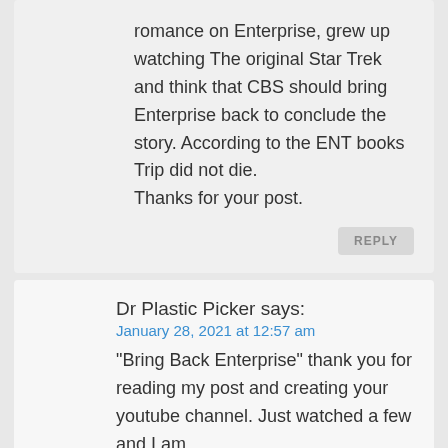romance on Enterprise, grew up watching The original Star Trek and think that CBS should bring Enterprise back to conclude the story. According to the ENT books Trip did not die.
Thanks for your post.
REPLY
Dr Plastic Picker says:
January 28, 2021 at 12:57 am
“Bring Back Enterprise” thank you for reading my post and creating your youtube channel. Just watched a few and I am